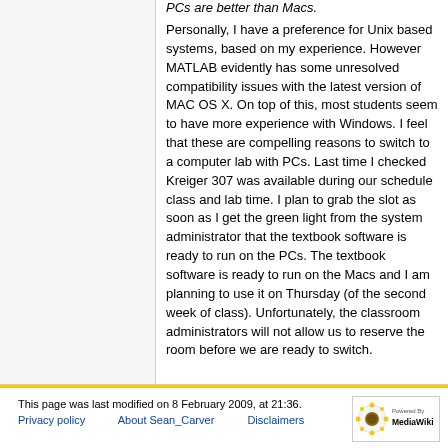PCs are better than Macs.
Personally, I have a preference for Unix based systems, based on my experience. However MATLAB evidently has some unresolved compatibility issues with the latest version of MAC OS X. On top of this, most students seem to have more experience with Windows. I feel that these are compelling reasons to switch to a computer lab with PCs. Last time I checked Kreiger 307 was available during our schedule class and lab time. I plan to grab the slot as soon as I get the green light from the system administrator that the textbook software is ready to run on the PCs. The textbook software is ready to run on the Macs and I am planning to use it on Thursday (of the second week of class). Unfortunately, the classroom administrators will not allow us to reserve the room before we are ready to switch.
This page was last modified on 8 February 2009, at 21:36.
Privacy policy   About Sean_Carver   Disclaimers